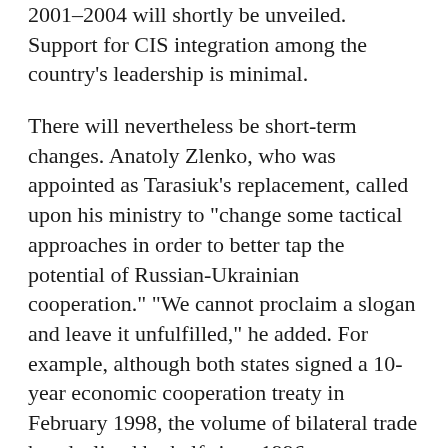2001–2004 will shortly be unveiled. Support for CIS integration among the country's leadership is minimal.
There will nevertheless be short-term changes. Anatoly Zlenko, who was appointed as Tarasiuk's replacement, called upon his ministry to "change some tactical approaches in order to better tap the potential of Russian-Ukrainian cooperation." "We cannot proclaim a slogan and leave it unfulfilled," he added. For example, although both states signed a 10-year economic cooperation treaty in February 1998, the volume of bilateral trade has declined by half since 1996.
Zlenko, who was Ukrainian foreign minister from 1990 to1994, acknowledged the "low effectiveness of...